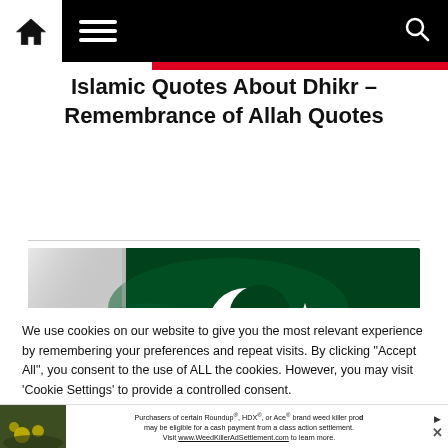Navigation bar with home icon, menu icon, and search icon
Islamic Quotes About Dhikr – Remembrance of Allah Quotes
[Figure (photo): Pakistan flag — white and green with crescent and star]
We use cookies on our website to give you the most relevant experience by remembering your preferences and repeat visits. By clicking "Accept All", you consent to the use of ALL the cookies. However, you may visit 'Cookie Settings' to provide a controlled consent.
Purchasers of certain Roundup®, HDX®, or Ace® brand weed killer products may be eligible for a cash payment from a class action settlement. Visit www.WeedKillerAdSettlement.com to learn more.